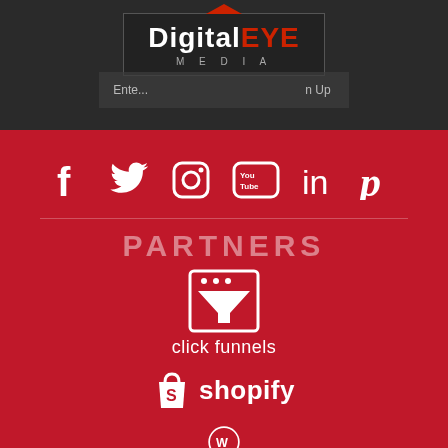[Figure (logo): DigitalEYE Media logo with arrow top accent, email input and Sign Up button below]
[Figure (infographic): Social media icons row: Facebook, Twitter, Instagram, YouTube, LinkedIn, Pinterest on red background]
PARTNERS
[Figure (logo): ClickFunnels logo with icon and text 'click funnels' on red background]
[Figure (logo): Shopify logo with bag icon and text 'shopify' on red background]
[Figure (logo): WordPress logo (partial, bottom of page) on red background]